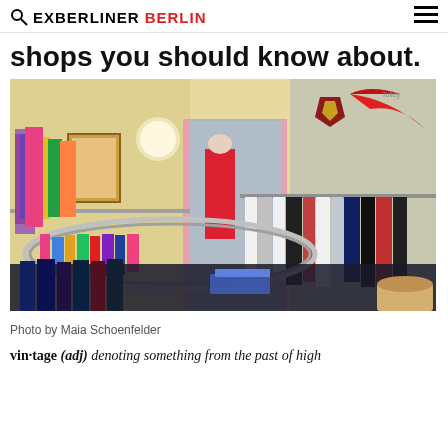EXBERLINER BERLIN
shops you should know about.
[Figure (photo): Interior of a vintage clothing shop in Berlin, showing multiple clothing racks densely packed with colorful garments, a red sequined dress on a mannequin, and various vintage items on display.]
Photo by Maia Schoenfelder
vin·tage (adj) denoting something from the past of high